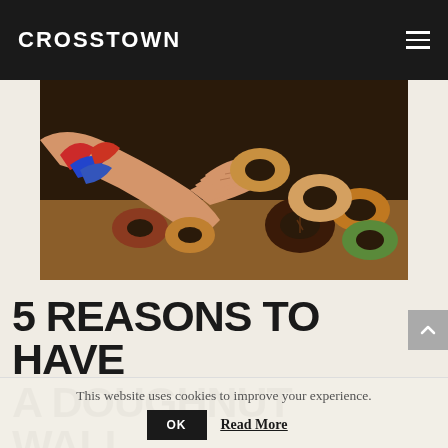CROSSTOWN
[Figure (photo): A tattooed hand reaching over an arrangement of artisan doughnuts. The hand has colorful tattoos including red and blue designs. Various doughnuts with different toppings and glazes are visible.]
5 REASONS TO HAVE A DOUGHNUT WAL
This website uses cookies to improve your experience.
OK  Read More